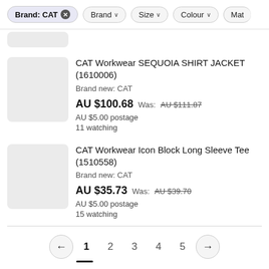Brand: CAT × | Brand ∨ | Size ∨ | Colour ∨ | Mat…
[Figure (other): Partial product image thumbnail (grey rectangle, cropped)]
CAT Workwear SEQUOIA SHIRT JACKET (1610006)
Brand new: CAT
AU $100.68  Was: AU $111.87
AU $5.00 postage
11 watching
[Figure (other): Product image thumbnail (grey rectangle placeholder)]
CAT Workwear Icon Block Long Sleeve Tee (1510558)
Brand new: CAT
AU $35.73  Was: AU $39.70
AU $5.00 postage
15 watching
← 1 2 3 4 5 →